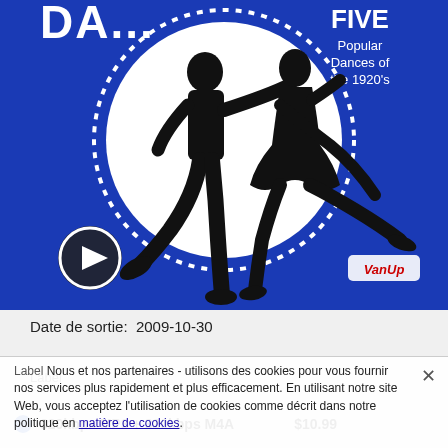[Figure (illustration): Album cover art for a 1920s dance music compilation. Blue background with a large white circle (dotted border). Black silhouette of a dancing couple in 1920s attire. Top right text reads 'FIVE Popular Dances of the 1920's'. A play button icon is in the lower left. A 'VanUp' logo appears in the lower right of the image.]
Date de sortie:  2009-10-30
Label: Nous et nos partenaires - utilisons des cookies pour vous fournir nos services plus rapidement et plus efficacement. En utilisant notre site Web, vous acceptez l'utilisation de cookies comme décrit dans notre politique en matière de cookies.
320kbps MP3 + 320kbps M4A    $10.99